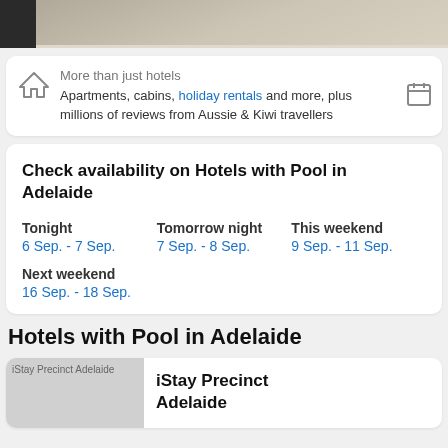[Figure (photo): Top portion of a hotel room image, cropped — showing a bed/floor area with a dark left strip.]
More than just hotels
Apartments, cabins, holiday rentals and more, plus millions of reviews from Aussie & Kiwi travellers
Check availability on Hotels with Pool in Adelaide
Tonight
6 Sep. - 7 Sep.
Tomorrow night
7 Sep. - 8 Sep.
This weekend
9 Sep. - 11 Sep.
Next weekend
16 Sep. - 18 Sep.
Hotels with Pool in Adelaide
iStay Precinct Adelaide